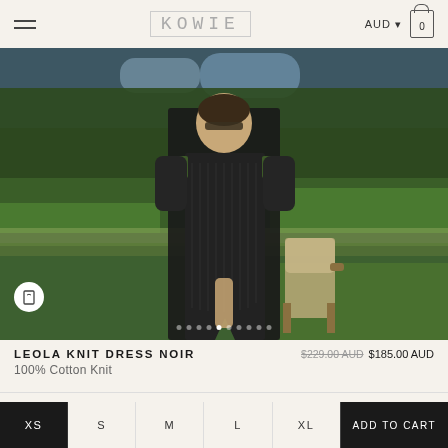KOWIE  AUD  0
[Figure (photo): Fashion model wearing a black ribbed cold-shoulder knit dress standing in a formal garden with manicured hedges and a vintage chair]
LEOLA KNIT DRESS NOIR
$229.00 AUD  $185.00 AUD
100% Cotton Knit
XS: True to size, recommend women's AUS 6-8
XS
S
M
L
XL
ADD TO CART